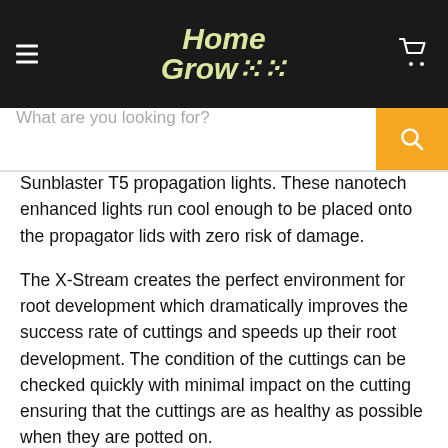HomeGrow
Sunblaster T5 propagation lights. These nanotech enhanced lights run cool enough to be placed onto the propagator lids with zero risk of damage.
The X-Stream creates the perfect environment for root development which dramatically improves the success rate of cuttings and speeds up their root development. The condition of the cuttings can be checked quickly with minimal impact on the cutting ensuring that the cuttings are as healthy as possible when they are potted on.
HINTS AND TIPS
Pump leave the pump on 24/7~